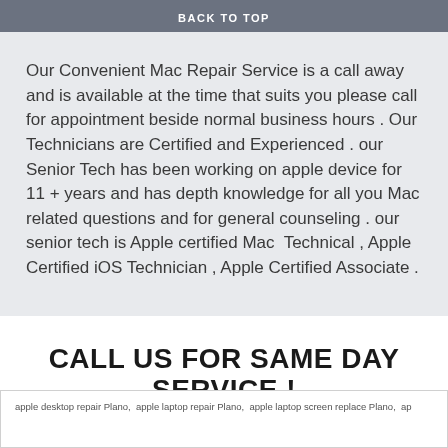BACK TO TOP
Our Convenient Mac Repair Service is a call away and is available at the time that suits you please call for appointment beside normal business hours . Our Technicians are Certified and Experienced . our Senior Tech has been working on apple device for 11 + years and has depth knowledge for all you Mac related questions and for general counseling . our senior tech is Apple certified Mac  Technical , Apple Certified iOS Technician , Apple Certified Associate .
CALL US FOR SAME DAY SERVICE !
apple desktop repair Plano,  apple laptop repair Plano,  apple laptop screen replace Plano,  ap